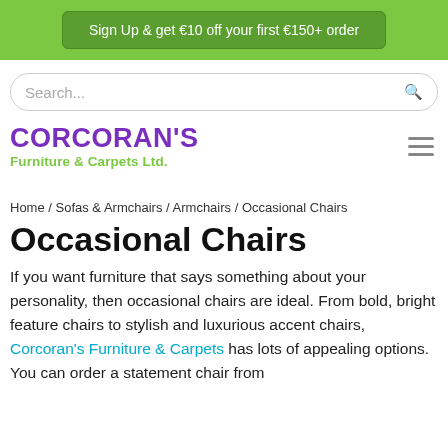Sign Up & get €10 off your first €150+ order
[Figure (screenshot): Search bar with rounded border and search icon]
[Figure (logo): Corcoran's Furniture & Carpets Ltd. logo in purple and green with hamburger menu icon]
Home / Sofas & Armchairs / Armchairs / Occasional Chairs
Occasional Chairs
If you want furniture that says something about your personality, then occasional chairs are ideal. From bold, bright feature chairs to stylish and luxurious accent chairs, Corcoran's Furniture & Carpets has lots of appealing options. You can order a statement chair from